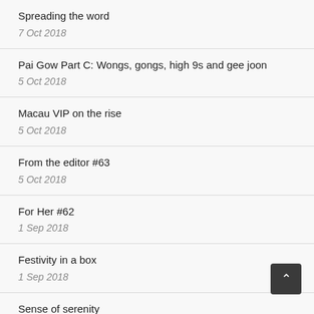Spreading the word
7 Oct 2018
Pai Gow Part C: Wongs, gongs, high 9s and gee joon
5 Oct 2018
Macau VIP on the rise
5 Oct 2018
From the editor #63
5 Oct 2018
For Her #62
1 Sep 2018
Festivity in a box
1 Sep 2018
Sense of serenity